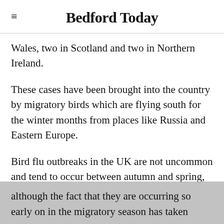Bedford Today
Wales, two in Scotland and two in Northern Ireland.
These cases have been brought into the country by migratory birds which are flying south for the winter months from places like Russia and Eastern Europe.
Bird flu outbreaks in the UK are not uncommon and tend to occur between autumn and spring, although the fact that they are occurring so early on in the migratory season has taken